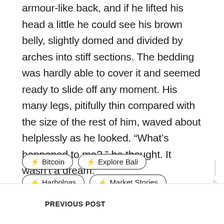armour-like back, and if he lifted his head a little he could see his brown belly, slightly domed and divided by arches into stiff sections. The bedding was hardly able to cover it and seemed ready to slide off any moment. His many legs, pitifully thin compared with the size of the rest of him, waved about helplessly as he looked. “What’s happened to me? ” he thought. It wasn’t a dream.
⚡ Bitcoin
⚡ Explore Bali
⚡ Harbolnas
⚡ Market Stories
BACK TO TOP
PREVIOUS POST